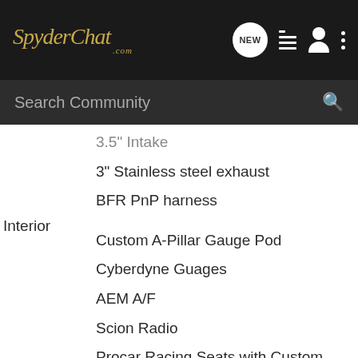[Figure (screenshot): SpyderChat.com website header with logo, navigation icons (NEW, list, user, dots menu), and search bar]
3.5" Intake
3" Stainless steel exhaust
BFR PnP harness
Interior
Custom A-Pillar Gauge Pod
Cyberdyne Guages
AEM A/F
Scion Radio
Procar Racing Seats with Custom Tracks
TRD Short Shifter
Custom Roll Bar
Red Cold Cathode Lighting
Funbag Warning Stickers
Crown Royal Black shift boot
Custom Red Door Inserts